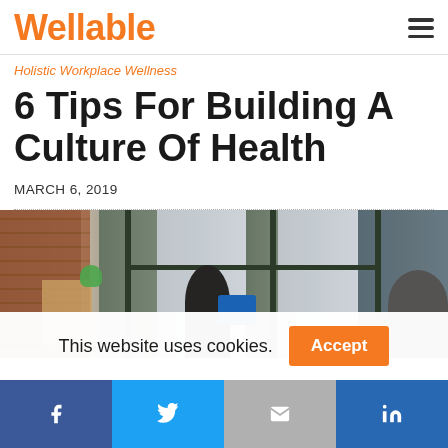Wellable
Holistic Workplace Wellness
6 Tips For Building A Culture Of Health
MARCH 6, 2019
[Figure (photo): Office workspace with brick wall, large windows, and employees working at desks with computers]
This website uses cookies.
Facebook | Twitter | Email | LinkedIn social share buttons